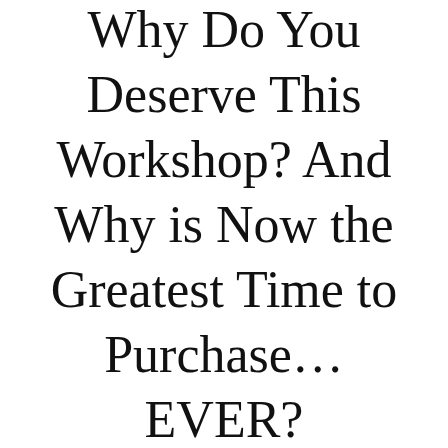Why Do You Deserve This Workshop? And Why is Now the Greatest Time to Purchase…EVER?